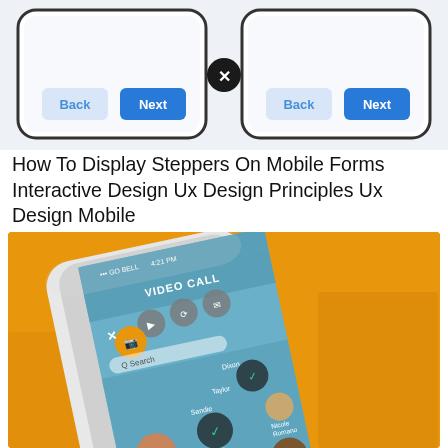[Figure (screenshot): Two mobile phone mockups showing Back and Next stepper navigation buttons, separated by an X icon]
How To Display Steppers On Mobile Forms Interactive Design Ux Design Principles Ux Design Mobile
[Figure (photo): A white iPhone on an orange background showing a Video Call app interface with multiple contacts including Colleen Keenan, Steve Chun, Naomi Malina, Jessica Walters, Nicole Romano, Monty Smith and others, with checkmarks on selected contacts and a GO button]